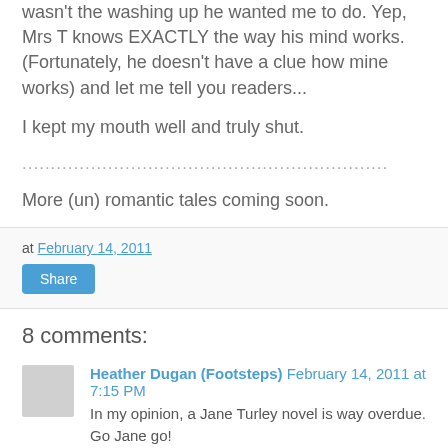wasn't the washing up he wanted me to do. Yep, Mrs T knows EXACTLY the way his mind works. (Fortunately, he doesn't have a clue how mine works) and let me tell you readers...
I kept my mouth well and truly shut.
................................................................
More (un) romantic tales coming soon.
at February 14, 2011
Share
8 comments:
Heather Dugan (Footsteps) February 14, 2011 at 7:15 PM
In my opinion, a Jane Turley novel is way overdue. Go Jane go!